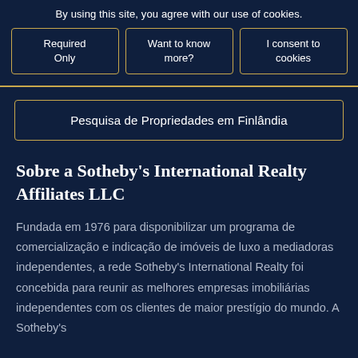By using this site, you agree with our use of cookies.
Required Only
Want to know more?
I consent to cookies
Pesquisa de Propriedades em Finlândia
Sobre a Sotheby's International Realty Affiliates LLC
Fundada em 1976 para disponibilizar um programa de comercialização e indicação de imóveis de luxo a mediadoras independentes, a rede Sotheby's International Realty foi concebida para reunir as melhores empresas imobiliárias independentes com os clientes de maior prestígio do mundo. A Sotheby's